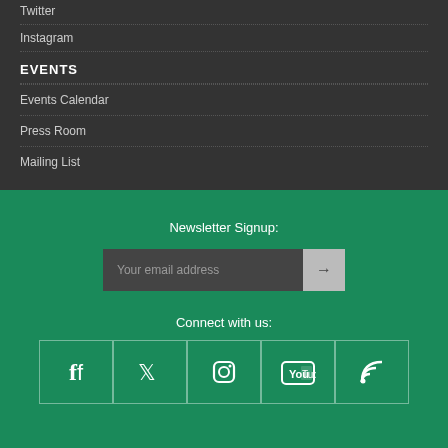Twitter
Instagram
EVENTS
Events Calendar
Press Room
Mailing List
Newsletter Signup:
Your email address
Connect with us:
[Figure (infographic): Five social media icon boxes in a row: Facebook, Twitter, Instagram, YouTube, RSS feed icons, each in a bordered square on green background]